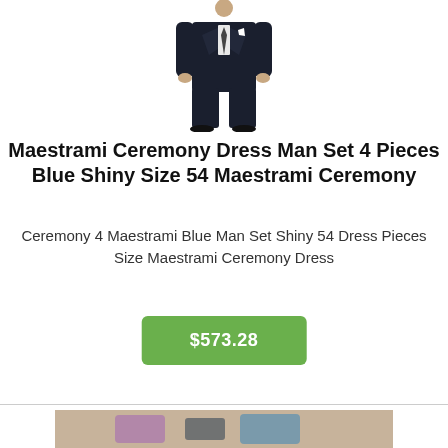[Figure (photo): Man wearing a dark navy blue formal suit (4-piece set), standing against white background]
Maestrami Ceremony Dress Man Set 4 Pieces Blue Shiny Size 54 Maestrami Ceremony
Ceremony 4 Maestrami Blue Man Set Shiny 54 Dress Pieces Size Maestrami Ceremony Dress
$573.28
[Figure (photo): Partial product image of another item visible at the bottom of the page]